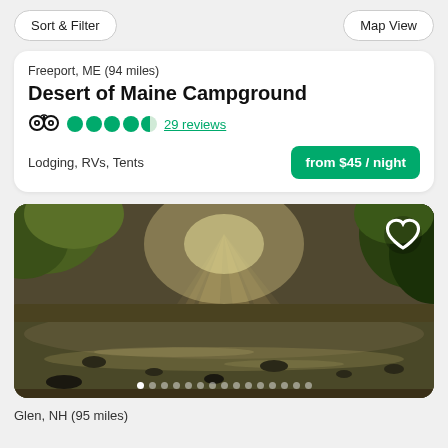Sort & Filter | Map View
Freeport, ME (94 miles)
Desert of Maine Campground
4.5 stars · 29 reviews
Lodging, RVs, Tents
from $45 / night
[Figure (photo): A serene river scene with sunlight streaming through trees, rocky riverbed visible, lush green foliage on both sides, moody golden-hour lighting]
Glen, NH (95 miles)